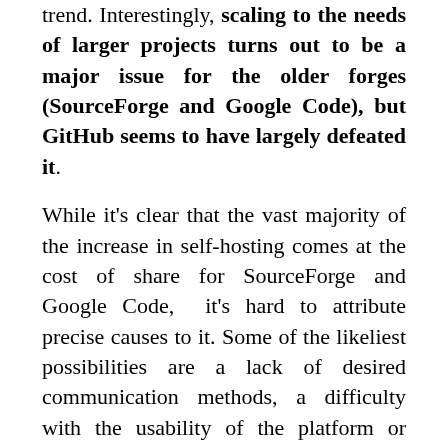trend. Interestingly, scaling to the needs of larger projects turns out to be a major issue for the older forges (SourceForge and Google Code), but GitHub seems to have largely defeated it.
While it's clear that the vast majority of the increase in self-hosting comes at the cost of share for SourceForge and Google Code,  it's hard to attribute precise causes to it. Some of the likeliest possibilities are a lack of desired communication methods, a difficulty with the usability of the platform or collaboration on it, and a failure of the forge to scale effectively.
Conclusions
Once a project reaches 15–20 monthly contributors, it seems to behave much differently, on average, than smaller projects in a number of ways. In larger projects,